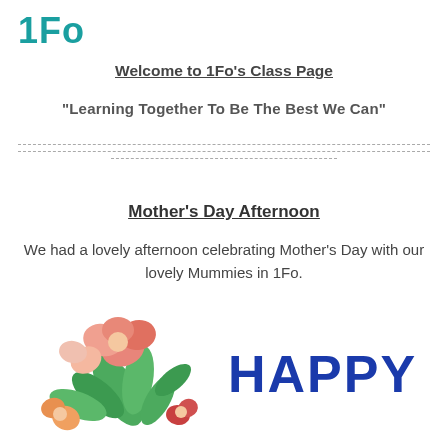1Fo
Welcome to 1Fo's Class Page
"Learning Together To Be The Best We Can"
Mother's Day Afternoon
We had a lovely afternoon celebrating Mother's Day with our lovely Mummies in 1Fo.
[Figure (illustration): Watercolor floral illustration with red, pink, and orange flowers and green leaves on the left side, and a 'HAPPY' text graphic in bold dark blue letters on the right side — parts of a Mother's Day card image cropped at the bottom of the page.]